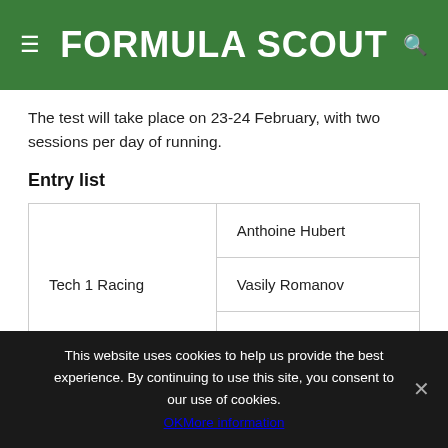FORMULA SCOUT
The test will take place on 23-24 February, with two sessions per day of running.
Entry list
| Team | Driver |
| --- | --- |
| Tech 1 Racing | Anthoine Hubert |
| Tech 1 Racing | Vasily Romanov |
| Tech 1 Racing | Egor Orudzhev |
This website uses cookies to help us provide the best experience. By continuing to use this site, you consent to our use of cookies. OK More information